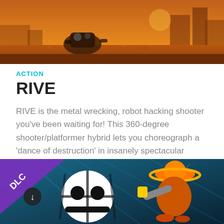[Figure (screenshot): Game screenshot showing characters in a desert/industrial orange-toned environment]
ACTION
RIVE
RIVE is the metal wrecking, robot hacking shooter you've been waiting for! This 360-degree shooter/platformer hybrid lets you choreograph a ‘dance of destruction’ in insanely spectacular battles and set-pieces. RIVE feels like the explosive...
[Figure (screenshot): DLC game artwork showing cartoon robot character with white skull-like face and an orange character with a hat, blue and dark background with DLC badge]